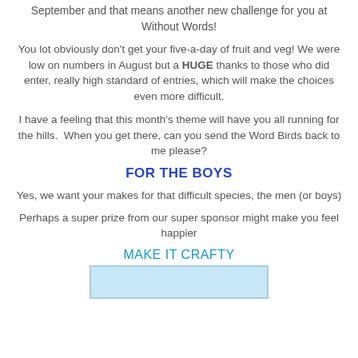September and that means another new challenge for you at Without Words!
You lot obviously don't get your five-a-day of fruit and veg!  We were low on numbers in August but a HUGE thanks to those who did enter, really high standard of entries, which will make the choices even more difficult.
I have a feeling that this month's theme will have you all running for the hills.  When you get there, can you send the Word Birds back to me please?
FOR THE BOYS
Yes, we want your makes for that difficult species, the men (or boys)
Perhaps a super prize from our super sponsor might make you feel happier
MAKE IT CRAFTY
[Figure (photo): Cropped image at bottom of page, partially visible]